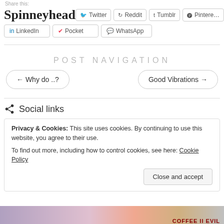Share this:
Spinneyhead
Twitter
Reddit
Tumblr
Pinterest
LinkedIn
Pocket
WhatsApp
Post navigation
← Why do ..?
Good Vibrations →
Social links
Privacy & Cookies: This site uses cookies. By continuing to use this website, you agree to their use.
To find out more, including how to control cookies, see here: Cookie Policy
Close and accept